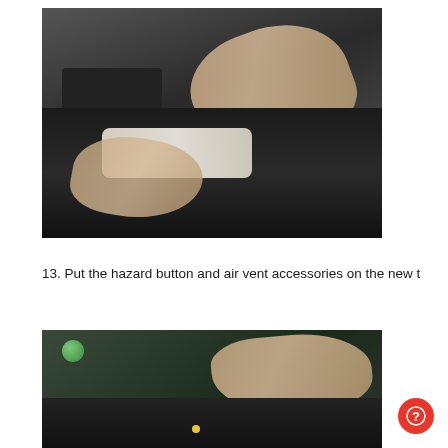[Figure (photo): Hands working on disassembling a car dashboard/center console unit, showing internal components including circuit boards and white plastic clips]
13. Put the hazard button and air vent accessories on the new t
[Figure (photo): Hand placing or removing a component from a car dashboard unit with a green button visible]